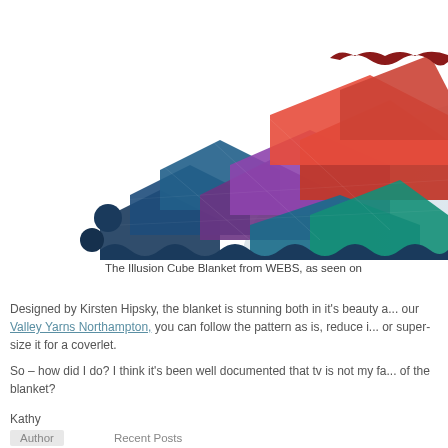[Figure (photo): Colorful hexagonal/cube-patterned knitted blanket (Illusion Cube Blanket) photographed diagonally, showing gradient colors from dark blue/purple to red to teal/blue, with a 3D optical illusion cube pattern.]
The Illusion Cube Blanket from WEBS, as seen on
Designed by Kirsten Hipsky, the blanket is stunning both in it's beauty a... our Valley Yarns Northampton, you can follow the pattern as is, reduce i... or super-size it for a coverlet.
So – how did I do?  I think it's been well documented that tv is not my fa... of the blanket?
Kathy
Author   Recent Posts